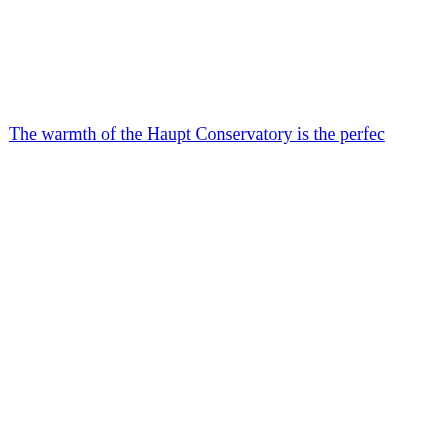The warmth of the Haupt Conservatory is the perfec